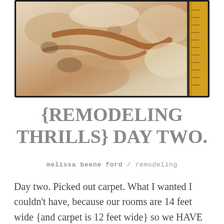[Figure (photo): Close-up photo of old, stained, dirty carpet padding or underlayment being pulled up, showing brown and rust-colored stains on cream/white fibrous material. A wooden door frame or baseboard is visible on the right edge.]
{REMODELING THRILLS} DAY TWO.
melissa beene ford / remodeling
Day two. Picked out carpet. What I wanted I couldn't have, because our rooms are 14 feet wide {and carpet is 12 feet wide} so we HAVE